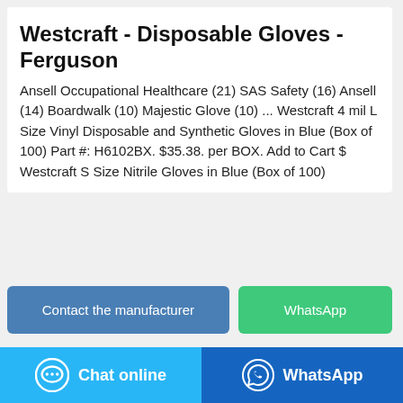Westcraft - Disposable Gloves - Ferguson
Ansell Occupational Healthcare (21) SAS Safety (16) Ansell (14) Boardwalk (10) Majestic Glove (10) ... Westcraft 4 mil L Size Vinyl Disposable and Synthetic Gloves in Blue (Box of 100) Part #: H6102BX. $35.38. per BOX. Add to Cart $ Westcraft S Size Nitrile Gloves in Blue (Box of 100)
[Figure (screenshot): Contact the manufacturer button and WhatsApp button]
[Figure (photo): Disposable gloves product image with box and number 16]
[Figure (screenshot): Bottom bar with Chat online and WhatsApp buttons]